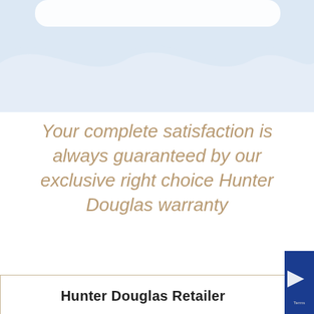[Figure (illustration): Decorative wave-shaped light blue background at the top of the page]
Your complete satisfaction is always guaranteed by our exclusive right choice Hunter Douglas warranty
Hunter Douglas Retailer